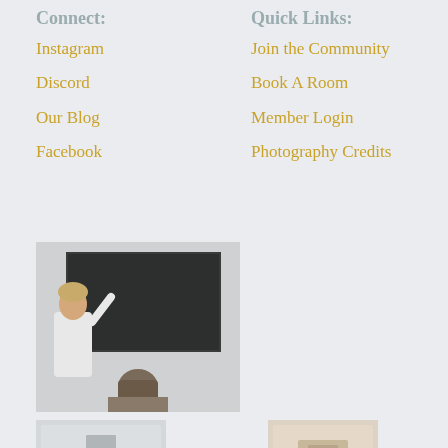Connect:
Quick Links:
Instagram
Join the Community
Discord
Book A Room
Our Blog
Member Login
Facebook
Photography Credits
[Figure (photo): Person presenting in front of a large dark screen/blackboard to an audience]
[Figure (photo): Small photo bottom left, interior scene]
[Figure (photo): Small photo bottom right, warm-toned interior scene]